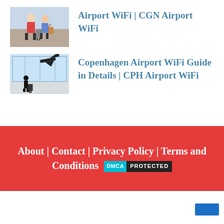Airport WiFi | CGN Airport WiFi
Copenhagen Airport WiFi Guide in Details | CPH Airport WiFi
About | Contact | Privacy Policy | Terms and Conditions [DMCA PROTECTED]